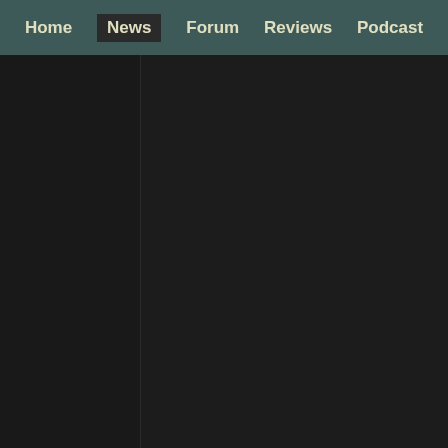Home | News | Forum | Reviews | Podcast
20:18UTC
"We think you guys will be pleasantly surprised in just a few hours 🙂"
Fucking teases.  Just come out and say it?  Does 3 hours of anticipation on an announcement really make the game any better?